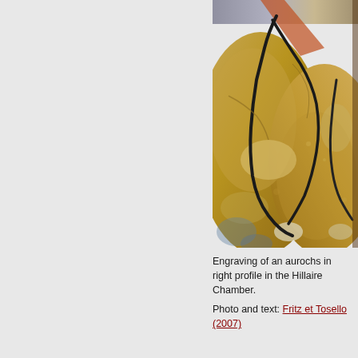[Figure (photo): Close-up photograph of a cave wall engraving showing an aurochs in right profile in the Hillaire Chamber. The rock surface is golden-brown with dark black engraved lines depicting the animal's form against the textured limestone.]
Engraving of an aurochs in right profile in the Hillaire Chamber.
Photo and text: Fritz et Tosello (2007)